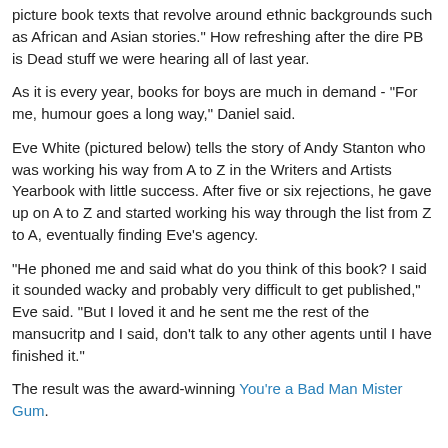picture book texts that revolve around ethnic backgrounds such as African and Asian stories." How refreshing after the dire PB is Dead stuff we were hearing all of last year.
As it is every year, books for boys are much in demand - "For me, humour goes a long way," Daniel said.
Eve White (pictured below) tells the story of Andy Stanton who was working his way from A to Z in the Writers and Artists Yearbook with little success. After five or six rejections, he gave up on A to Z and started working his way through the list from Z to A, eventually finding Eve's agency.
"He phoned me and said what do you think of this book? I said it sounded wacky and probably very difficult to get published," Eve said. "But I loved it and he sent me the rest of the mansucritp and I said, don't talk to any other agents until I have finished it."
The result was the award-winning You're a Bad Man Mister Gum.